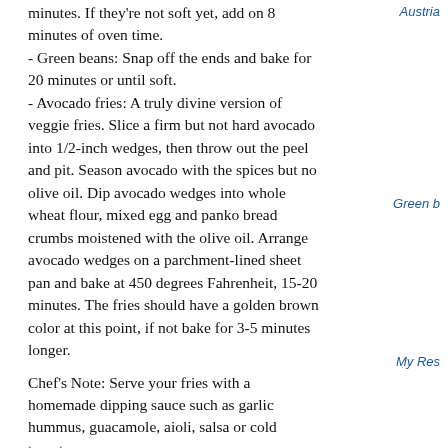minutes. If they're not soft yet, add on 8 minutes of oven time.
- Green beans: Snap off the ends and bake for 20 minutes or until soft.
- Avocado fries: A truly divine version of veggie fries. Slice a firm but not hard avocado into 1/2-inch wedges, then throw out the peel and pit. Season avocado with the spices but no olive oil. Dip avocado wedges into whole wheat flour, mixed egg and panko bread crumbs moistened with the olive oil. Arrange avocado wedges on a parchment-lined sheet pan and bake at 450 degrees Fahrenheit, 15-20 minutes. The fries should have a golden brown color at this point, if not bake for 3-5 minutes longer.
Chef's Note: Serve your fries with a homemade dipping sauce such as garlic hummus, guacamole, aioli, salsa or cold tomato sauce.
Posted on February 27, 2015 | Permalink
Reblog (0)  Tweet  Pin it  Digg This  Save to del.icio.us
Comments
Comment below or sign in with  Typepad  Facebook